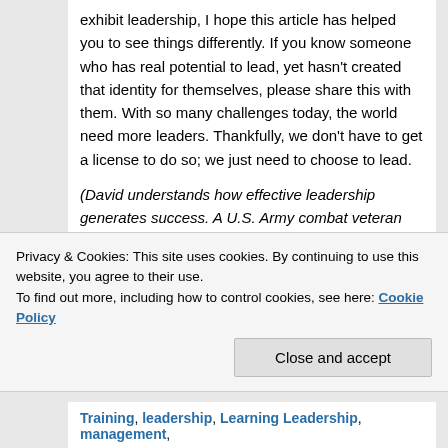exhibit leadership, I hope this article has helped you to see things differently. If you know someone who has real potential to lead, yet hasn't created that identity for themselves, please share this with them. With so many challenges today, the world need more leaders. Thankfully, we don't have to get a license to do so; we just need to choose to lead.
(David understands how effective leadership generates success. A U.S. Army combat veteran with corporate leadership experience, he is the Founder & Principal Consultant of The Leader Growth Group, a firm dedicated to creating self-aware leaders who inspire more engaged and productive workplaces.)
Privacy & Cookies: This site uses cookies. By continuing to use this website, you agree to their use.
To find out more, including how to control cookies, see here: Cookie Policy
Close and accept
Training, leadership, Learning Leadership, management,